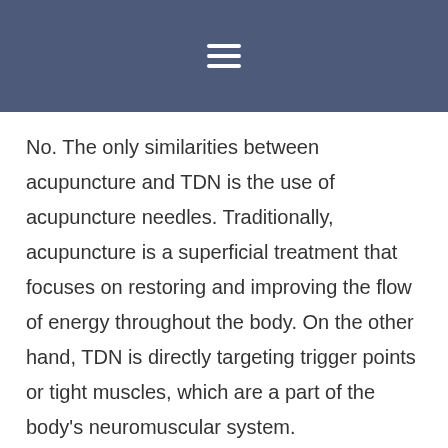☰
No. The only similarities between acupuncture and TDN is the use of acupuncture needles. Traditionally, acupuncture is a superficial treatment that focuses on restoring and improving the flow of energy throughout the body. On the other hand, TDN is directly targeting trigger points or tight muscles, which are a part of the body's neuromuscular system.
What To Expect From TDN